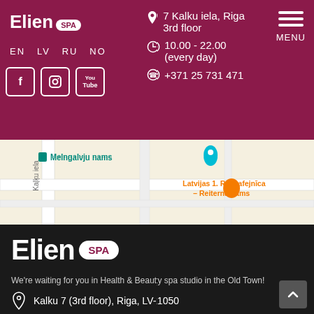Elien SPA — EN LV RU NO — 7 Kalku iela, Riga 3rd floor — 10.00 - 22.00 (every day) — +371 25 731 471 — MENU
[Figure (map): Google Maps snippet showing Melngalvju nams and Latvijas 1. Rokkafejnīca – Reiterna nams near Kalku iela, Riga]
[Figure (logo): Elien SPA logo in white on dark background]
We're waiting for you in Health & Beauty spa studio in the Old Town!
Kalku 7 (3rd floor), Riga, LV-1050